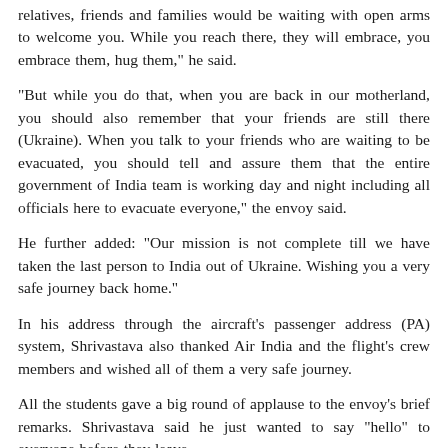relatives, friends and families would be waiting with open arms to welcome you. While you reach there, they will embrace, you embrace them, hug them," he said.
"But while you do that, when you are back in our motherland, you should also remember that your friends are still there (Ukraine). When you talk to your friends who are waiting to be evacuated, you should tell and assure them that the entire government of India team is working day and night including all officials here to evacuate everyone," the envoy said.
He further added: "Our mission is not complete till we have taken the last person to India out of Ukraine. Wishing you a very safe journey back home."
In his address through the aircraft's passenger address (PA) system, Shrivastava also thanked Air India and the flight's crew members and wished all of them a very safe journey.
All the students gave a big round of applause to the envoy's brief remarks. Shrivastava said he just wanted to say "hello" to everyone before they leave.
"Good morning my dear friends. My name is Rahul Shrivastava and I am your ambassador in Romania," he introduced himself.
"I know that you have come through a long and arduous road